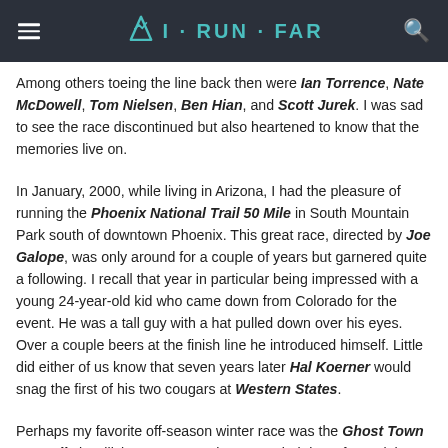I·RUN·FAR
Among others toeing the line back then were Ian Torrence, Nate McDowell, Tom Nielsen, Ben Hian, and Scott Jurek. I was sad to see the race discontinued but also heartened to know that the memories live on.
In January, 2000, while living in Arizona, I had the pleasure of running the Phoenix National Trail 50 Mile in South Mountain Park south of downtown Phoenix. This great race, directed by Joe Galope, was only around for a couple of years but garnered quite a following. I recall that year in particular being impressed with a young 24-year-old kid who came down from Colorado for the event. He was a tall guy with a hat pulled down over his eyes. Over a couple beers at the finish line he introduced himself. Little did either of us know that seven years later Hal Koerner would snag the first of his two cougars at Western States.
Perhaps my favorite off-season winter race was the Ghost Town 38.5 Mile in Hillsboro, New Mexico. I traveled down from Idaho